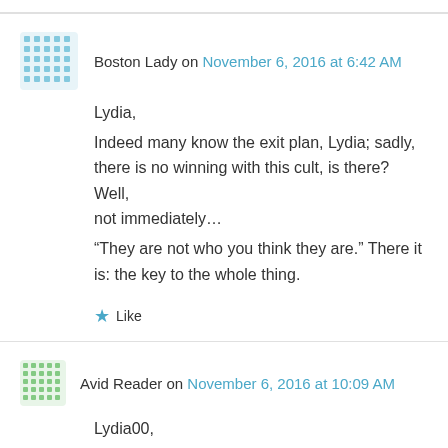Boston Lady on November 6, 2016 at 6:42 AM
Lydia,
Indeed many know the exit plan, Lydia; sadly, there is no winning with this cult, is there? Well, not immediately…
“They are not who you think they are.” There it is: the key to the whole thing.
★ Like
Avid Reader on November 6, 2016 at 10:09 AM
Lydia00,

Really great points. The only thing I could add